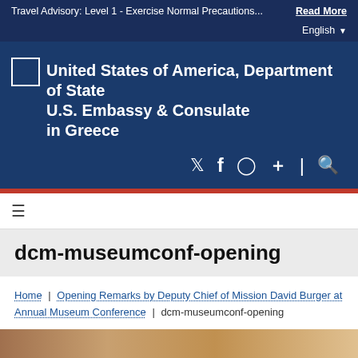Travel Advisory: Level 1 - Exercise Normal Precautions... Read More
English
[Figure (logo): United States of America, Department of State seal/logo placeholder and U.S. Embassy & Consulate in Greece wordmark]
[Figure (infographic): Social media icons: Twitter, Facebook, Instagram, plus/add, search]
dcm-museumconf-opening
Home | Opening Remarks by Deputy Chief of Mission David Burger at Annual Museum Conference | dcm-museumconf-opening
[Figure (photo): Partial photo strip at bottom of page, warm brown/golden tones]